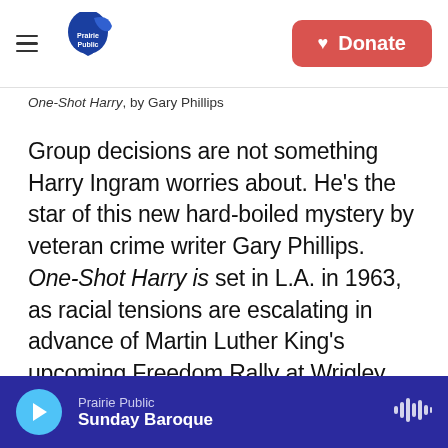Prairie Public — Donate
One-Shot Harry, by Gary Phillips
Group decisions are not something Harry Ingram worries about. He's the star of this new hard-boiled mystery by veteran crime writer Gary Phillips. One-Shot Harry is set in L.A. in 1963, as racial tensions are escalating in advance of Martin Luther King's upcoming Freedom Rally at Wrigley Field. Harry, a Black freelance news photographer who roams all over L.A. with his Speed Graphic camera, is the best of all possible guides to this watershed moment. His job gives him entrée into neighborhoods and events that might otherwise be
Prairie Public — Sunday Baroque